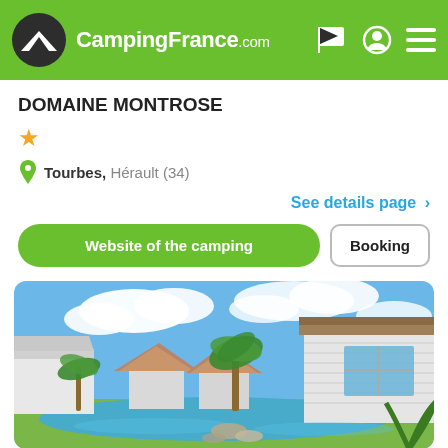CampingFrance.com
DOMAINE MONTROSE
★
Tourbes, Hérault (34)
See details page >
Website of the camping
Booking
[Figure (photo): Outdoor resort scene with a blue swimming pool, white holiday cabins/bungalows with thatched-roof gazebos, palm trees, and a sunny sky with white clouds]